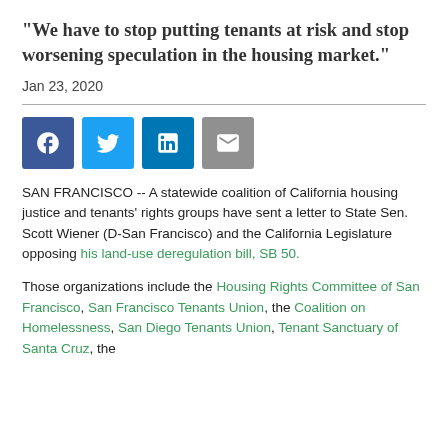"We have to stop putting tenants at risk and stop worsening speculation in the housing market."
Jan 23, 2020
[Figure (other): Social media sharing icons: Facebook, Twitter, LinkedIn, Email]
SAN FRANCISCO -- A statewide coalition of California housing justice and tenants' rights groups have sent a letter to State Sen. Scott Wiener (D-San Francisco) and the California Legislature opposing his land-use deregulation bill, SB 50.
Those organizations include the Housing Rights Committee of San Francisco, San Francisco Tenants Union, the Coalition on Homelessness, San Diego Tenants Union, Tenant Sanctuary of Santa Cruz, the